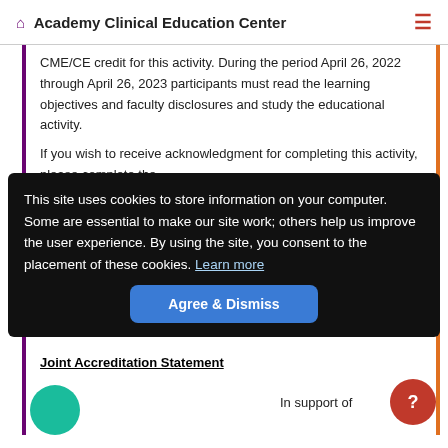Academy Clinical Education Center
CME/CE credit for this activity. During the period April 26, 2022 through April 26, 2023 participants must read the learning objectives and faculty disclosures and study the educational activity.
If you wish to receive acknowledgment for completing this activity, please complete the [evaluation questions and submit...] On the [post-assessment...] Do the course [...]  results will be made available immediately.
This site uses cookies to store information on your computer. Some are essential to make our site work; others help us improve the user experience. By using the site, you consent to the placement of these cookies. Learn more
Agree & Dismiss
Joint Accreditation Statement
In support of